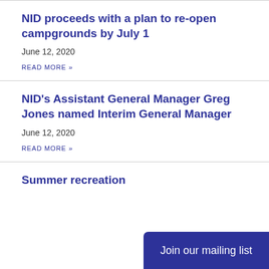NID proceeds with a plan to re-open campgrounds by July 1
June 12, 2020
READ MORE »
NID's Assistant General Manager Greg Jones named Interim General Manager
June 12, 2020
READ MORE »
Summer recreation
Join our mailing list